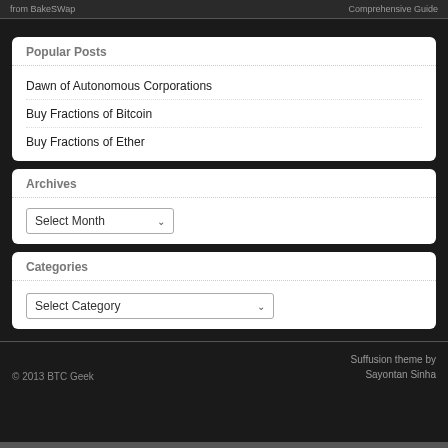from BakeSWap ... Comprehensive Guide
Popular Posts
Dawn of Autonomous Corporations
Buy Fractions of Bitcoin
Buy Fractions of Ether
Archives
Select Month
Categories
Select Category
© 2013 BTC Geek    Suffusion theme by Sayontan Sinha